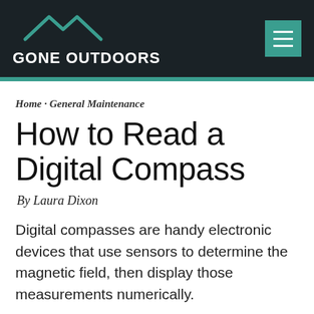GONE OUTDOORS
Home · General Maintenance
How to Read a Digital Compass
By Laura Dixon
Digital compasses are handy electronic devices that use sensors to determine the magnetic field, then display those measurements numerically.